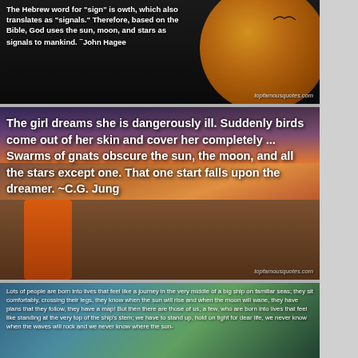[Figure (photo): Dark background with large orange moon and bird silhouette. Quote text overlay: 'The Hebrew word for "sign" is owth, which also translates as "signals." Therefore, based on the Bible, God uses the sun, moon, and stars as signals to mankind. ~John Hagee' with topfamousquotes.com watermark.]
[Figure (photo): Dramatic landscape with volcanic lava, rocky terrain and colorful sunset sky. Quote text overlay: 'The girl dreams she is dangerously ill. Suddenly birds come out of her skin and cover her completely ... Swarms of gnats obscure the sun, the moon, and all the stars except one. That one start falls upon the dreamer. ~C.G. Jung' with topfamousquotes.com watermark.]
[Figure (photo): Tropical beach scene with palm trees and ocean. Partial quote text overlay: 'Lots of people are born into lives that feel like a journey in the very middle of a big ship on familiar seas; they sit comfortably, crossing their legs, they know when the sun will rise and when the moon will wane, they have plans that they follow, they have a map! But then there are those of us, a few, who are born into lives that feel like standing at the very top of the ship's stem; we have to stand up, hold on tight for dear life, we never know when the waves will rock and we never know where the sun-']